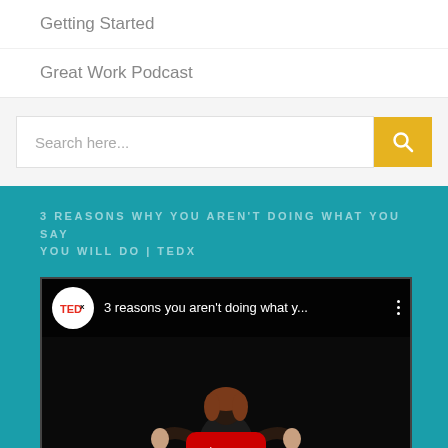Getting Started
Great Work Podcast
Search here...
3 REASONS WHY YOU AREN'T DOING WHAT YOU SAY YOU WILL DO | TEDX
[Figure (screenshot): YouTube video embed showing TEDx talk titled '3 reasons you aren't doing what y...' with a woman speaker on stage and a YouTube play button overlay]